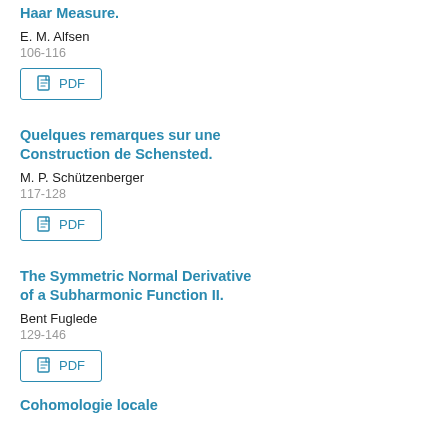Haar Measure.
E. M. Alfsen
106-116
[Figure (other): PDF download button]
Quelques remarques sur une Construction de Schensted.
M. P. Schützenberger
117-128
[Figure (other): PDF download button]
The Symmetric Normal Derivative of a Subharmonic Function II.
Bent Fuglede
129-146
[Figure (other): PDF download button]
Cohomologie locale